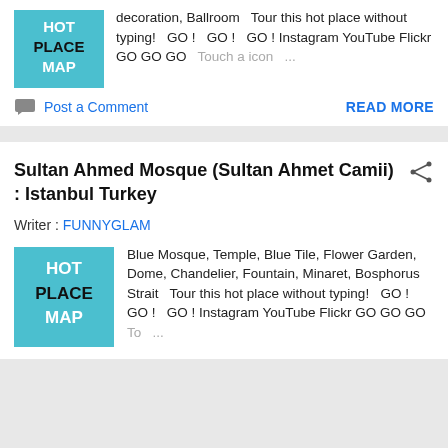[Figure (logo): Hot Place Map logo thumbnail - light blue square with HOT PLACE MAP text in black and white]
decoration, Ballroom   Tour this hot place without typing!   GO !   GO !   GO ! Instagram YouTube Flickr GO GO GO   Touch a icon   ...
Post a Comment
READ MORE
Sultan Ahmed Mosque (Sultan Ahmet Camii) : Istanbul Turkey
Writer : FUNNYGLAM
[Figure (logo): Hot Place Map logo thumbnail - light blue square with HOT PLACE MAP text in black and white]
Blue Mosque, Temple, Blue Tile, Flower Garden, Dome, Chandelier, Fountain, Minaret, Bosphorus Strait   Tour this hot place without typing!   GO !   GO !   GO ! Instagram YouTube Flickr GO GO GO   To   ...